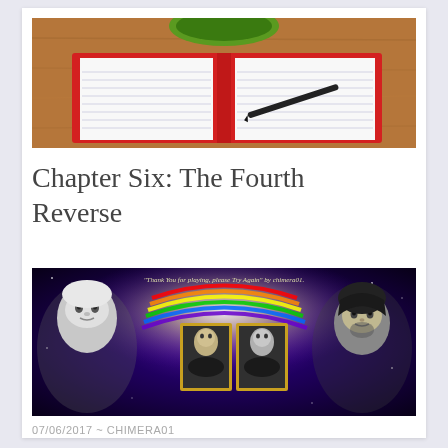[Figure (photo): Photo of an open notebook with lined pages and a pen lying on it, with a green cup visible in the background on a wooden surface.]
Chapter Six: The Fourth Reverse
[Figure (photo): Fan art banner image with text 'Thank you for playing, please try again by chimera01.' showing an elderly woman on the left, two framed black-and-white portrait photos in the center against a colorful galaxy/rainbow background, and a dark-haired man on the right.]
07/06/2017 ~ CHIMERA01